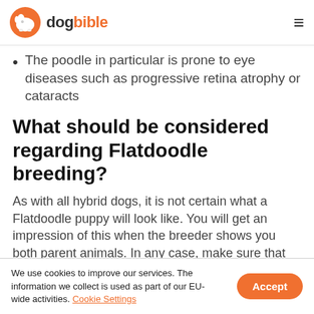dogbible
The poodle in particular is prone to eye diseases such as progressive retina atrophy or cataracts
What should be considered regarding Flatdoodle breeding?
As with all hybrid dogs, it is not certain what a Flatdoodle puppy will look like. You will get an impression of this when the breeder shows you both parent animals. In any case, make sure that the dogs make a well-groomed impression and are kept in a species-appropriate manner.
We use cookies to improve our services. The information we collect is used as part of our EU-wide activities. Cookie Settings